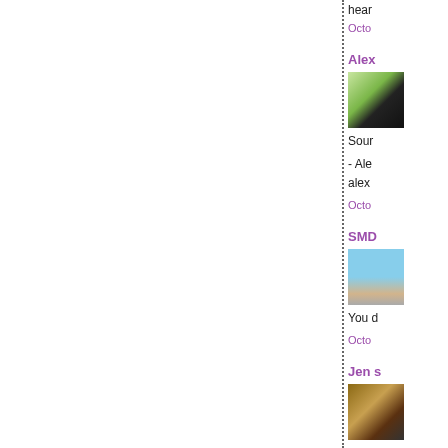hear
Octo
Alex
[Figure (photo): Profile photo of Alex, a woman standing outdoors near foliage]
Sour
- Ale
alex
Octo
SMD
[Figure (photo): Profile photo of SMD, a person walking a dog on a beach]
You d
Octo
Jen s
[Figure (photo): Profile photo of Jen]
Wha